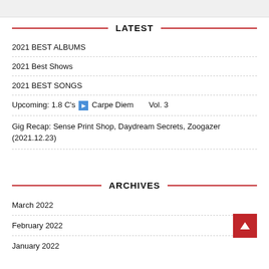[Figure (screenshot): Top bar with light gray background, partial search bar visible]
LATEST
2021 BEST ALBUMS
2021 Best Shows
2021 BEST SONGS
Upcoming: 1.8 C's ▶ Carpe Diem        Vol. 3
Gig Recap: Sense Print Shop, Daydream Secrets, Zoogazer (2021.12.23)
ARCHIVES
March 2022
February 2022
January 2022